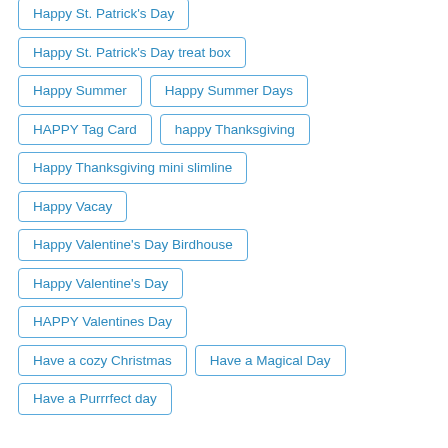Happy St. Patrick's Day
Happy St. Patrick's Day treat box
Happy Summer
Happy Summer Days
HAPPY Tag Card
happy Thanksgiving
Happy Thanksgiving mini slimline
Happy Vacay
Happy Valentine's Day Birdhouse
Happy Valentine's Day
HAPPY Valentines Day
Have a cozy Christmas
Have a Magical Day
Have a Purrrfect day